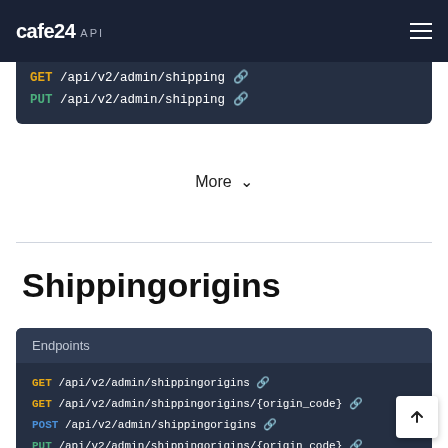cafe24 API
GET /api/v2/admin/shipping
PUT /api/v2/admin/shipping
More
Shippingorigins
Endpoints
GET /api/v2/admin/shippingorigins
GET /api/v2/admin/shippingorigins/{origin_code}
POST /api/v2/admin/shippingorigins
PUT /api/v2/admin/shippingorigins/{origin_code}
DELETE /api/v2/admin/shippingorigins/{origin_code}